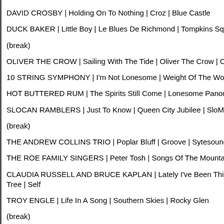DAVID CROSBY | Holding On To Nothing | Croz | Blue Castle
DUCK BAKER | Little Boy | Le Blues De Richmond | Tompkins Square
(break)
OLIVER THE CROW | Sailing With The Tide | Oliver The Crow | OTC
10 STRING SYMPHONY | I&#039;m Not Lonesome | Weight Of The Wo
HOT BUTTERED RUM | The Spirits Still Come | Lonesome Panoramic |
SLOCAN RAMBLERS | Just To Know | Queen City Jubilee | SloMusic
(break)
THE ANDREW COLLINS TRIO | Poplar Bluff | Groove | Sytesounds
THE ROE FAMILY SINGERS | Peter Tosh | Songs Of The Mountains, So
CLAUDIA RUSSELL AND BRUCE KAPLAN | Lately I&#039;ve Been Thi... Tree | Self
TROY ENGLE | Life In A Song | Southern Skies | Rocky Glen
(break)
CHRIS HILLMAN | She Don&#039;t Care About Time | Bidin&#039; My T